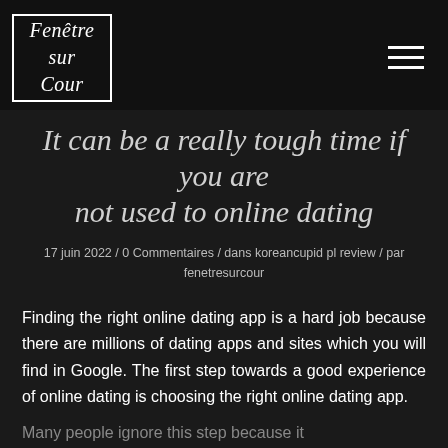Fenêtre sur Cour
It can be a really tough time if you are not used to online dating
17 juin 2022 / 0 Commentaires / dans koreancupid pl review / par fenetresurcour
Finding the right online dating app is a hard job because there are millions of dating apps and sites which you will find in Google. The first step towards a good experience of online dating is choosing the right online dating app.
Many people ignore this step because it